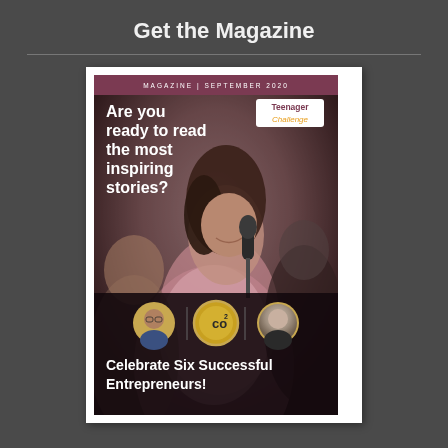Get the Magazine
[Figure (illustration): Magazine cover for 'Teenager Challenge', September 2020 issue. Shows a young woman holding a microphone, wearing a pink jacket. Headline reads 'Are you ready to read the most inspiring stories?'. Bottom section shows three circular portraits/logos and text 'Celebrate Six Successful Entrepreneurs!']